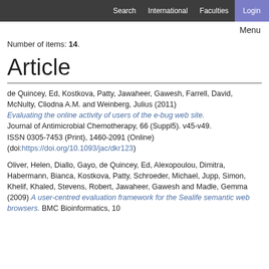Search   International   Faculties   Login
Menu
Number of items: 14.
Article
de Quincey, Ed, Kostkova, Patty, Jawaheer, Gawesh, Farrell, David, McNulty, Cliodna A.M. and Weinberg, Julius (2011) Evaluating the online activity of users of the e-bug web site. Journal of Antimicrobial Chemotherapy, 66 (Suppl5). v45-v49. ISSN 0305-7453 (Print), 1460-2091 (Online) (doi:https://doi.org/10.1093/jac/dkr123)
Oliver, Helen, Diallo, Gayo, de Quincey, Ed, Alexopoulou, Dimitra, Habermann, Bianca, Kostkova, Patty, Schroeder, Michael, Jupp, Simon, Khelif, Khaled, Stevens, Robert, Jawaheer, Gawesh and Madle, Gemma (2009) A user-centred evaluation framework for the Sealife semantic web browsers. BMC Bioinformatics, 10